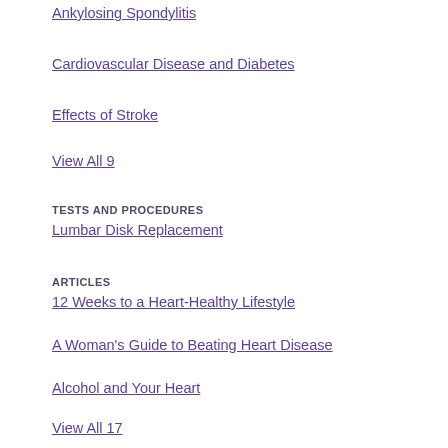Ankylosing Spondylitis
Cardiovascular Disease and Diabetes
Effects of Stroke
View All 9
TESTS AND PROCEDURES
Lumbar Disk Replacement
ARTICLES
12 Weeks to a Heart-Healthy Lifestyle
A Woman's Guide to Beating Heart Disease
Alcohol and Your Heart
View All 17